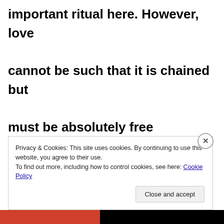important ritual here. However, love cannot be such that it is chained but must be absolutely free otherwise love becomes misery.
Harmonious surroundings are needed
Privacy & Cookies: This site uses cookies. By continuing to use this website, you agree to their use.
To find out more, including how to control cookies, see here: Cookie Policy